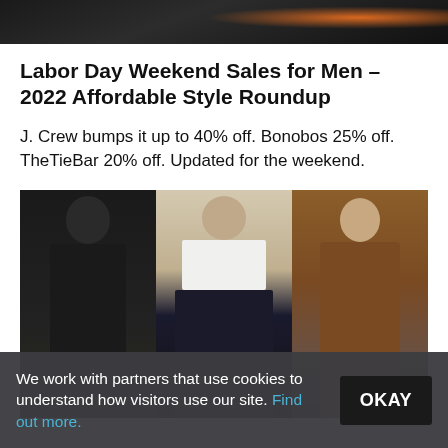[Figure (photo): Top partial image showing dark background with orange highlight, possibly outdoor gear or nature scene]
Labor Day Weekend Sales for Men – 2022 Affordable Style Roundup
J. Crew bumps it up to 40% off. Bonobos 25% off. TheTieBar 20% off. Updated for the weekend.
[Figure (photo): Three men wearing different jackets: left man in dark quilted/bomber jacket, center man in dark suit blazer, right man in brown suede/leather chore coat]
We work with partners that use cookies to understand how visitors use our site. Find out more.